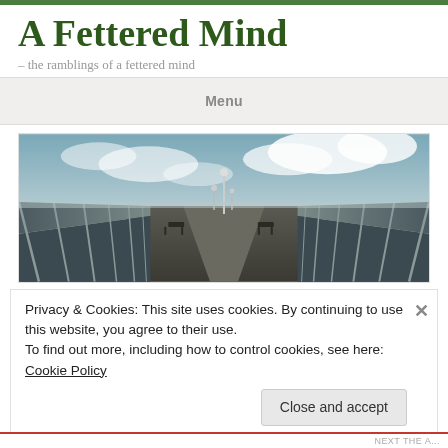A Fettered Mind
– the ramblings of a fettered mind
Menu
[Figure (photo): Wide-angle perspective photo of a pier or boardwalk walkway with glass/metal railings on both sides converging to a vanishing point, with lamp posts visible and a dramatic cloudy sky above.]
Privacy & Cookies: This site uses cookies. By continuing to use this website, you agree to their use.
To find out more, including how to control cookies, see here: Cookie Policy
Close and accept